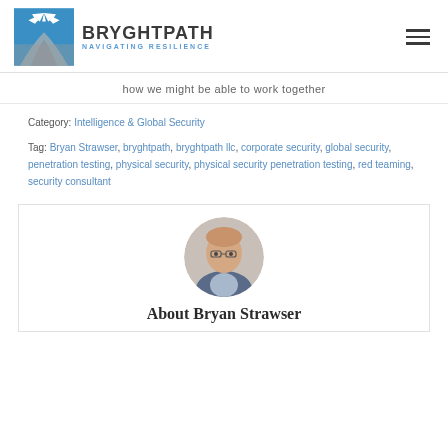[Figure (logo): Bryghtpath logo with blue and grey road/sunrise graphic and text BRYGHTPATH NAVIGATING RESILIENCE]
how we might be able to work together
Category: Intelligence & Global Security
Tag: Bryan Strawser, bryghtpath, bryghtpath llc, corporate security, global security, penetration testing, physical security, physical security penetration testing, red teaming, security consultant
[Figure (photo): Headshot photo of Bryan Strawser, a man in a blue blazer and glasses, circular crop]
About Bryan Strawser